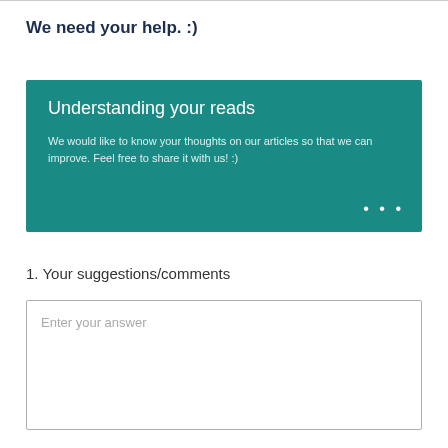We need your help. :)
[Figure (infographic): Teal/dark-cyan banner box with title 'Understanding your reads' and body text 'We would like to know your thoughts on our articles so that we can improve. Feel free to share it with us! :)' and ellipsis dots at bottom right.]
1. Your suggestions/comments
Enter your answer